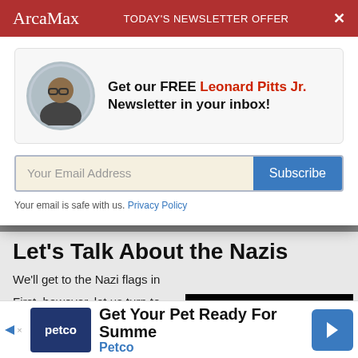ArcaMax — TODAY'S NEWSLETTER OFFER
Get our FREE Leonard Pitts Jr. Newsletter in your inbox!
Your Email Address  [Subscribe button]
Your email is safe with us. Privacy Policy
Let's Talk About the Nazis
We'll get to the Nazi flags in
First, however, let us turn to clarification of a point recent
[Figure (screenshot): Black video player overlay with spinner circle, X close button, and bracket corner marker]
Get Your Pet Ready For Summe  Petco